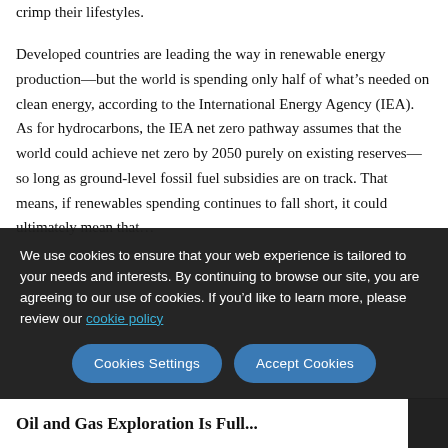crimp their lifestyles.
Developed countries are leading the way in renewable energy production—but the world is spending only half of what's needed on clean energy, according to the International Energy Agency (IEA). As for hydrocarbons, the IEA net zero pathway assumes that the world could achieve net zero by 2050 purely on existing reserves—so long as ground-level fossil fuel subsidies are on track. That means, if renewables spending continues to fall short, it could ultimately mean that...
We use cookies to ensure that your web experience is tailored to your needs and interests. By continuing to browse our site, you are agreeing to our use of cookies. If you'd like to learn more, please review our cookie policy
Oil and Gas Exploration Is Full...